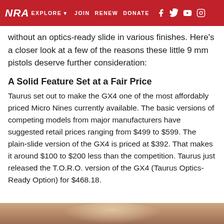NRA EXPLORE ▼  JOIN  RENEW  DONATE  [social icons]
without an optics-ready slide in various finishes. Here's a closer look at a few of the reasons these little 9 mm pistols deserve further consideration:
A Solid Feature Set at a Fair Price
Taurus set out to make the GX4 one of the most affordably priced Micro Nines currently available. The basic versions of competing models from major manufacturers have suggested retail prices ranging from $499 to $599. The plain-slide version of the GX4 is priced at $392. That makes it around $100 to $200 less than the competition. Taurus just released the T.O.R.O. version of the GX4 (Taurus Optics-Ready Option) for $468.18.
[Figure (photo): Bottom portion of a close-up photo, showing what appears to be a firearm or hand, with warm brown tones.]